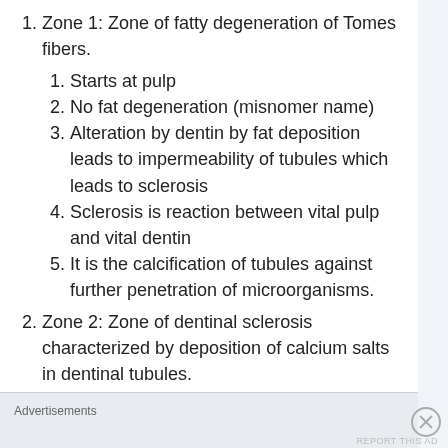Zone 1: Zone of fatty degeneration of Tomes fibers.
Starts at pulp
No fat degeneration (misnomer name)
Alteration by dentin by fat deposition leads to impermeability of tubules which leads to sclerosis
Sclerosis is reaction between vital pulp and vital dentin
It is the calcification of tubules against further penetration of microorganisms.
Zone 2: Zone of dentinal sclerosis characterized by deposition of calcium salts in dentinal tubules.
Advertisements